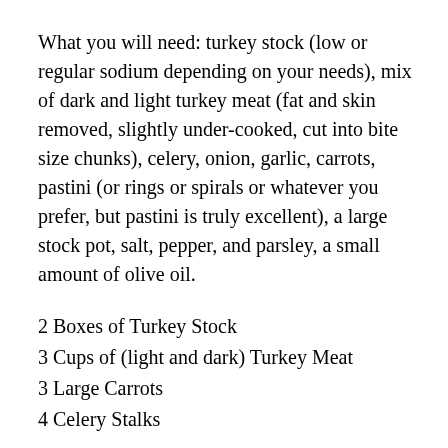What you will need: turkey stock (low or regular sodium depending on your needs), mix of dark and light turkey meat (fat and skin removed, slightly under-cooked, cut into bite size chunks), celery, onion, garlic, carrots, pastini (or rings or spirals or whatever you prefer, but pastini is truly excellent), a large stock pot, salt, pepper, and parsley, a small amount of olive oil.
2 Boxes of Turkey Stock
3 Cups of (light and dark) Turkey Meat
3 Large Carrots
4 Celery Stalks